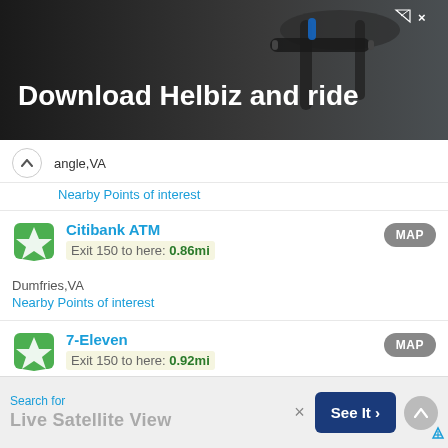[Figure (photo): Advertisement banner for Helbiz scooter app showing handlebars of a scooter with text 'Download Helbiz and ride']
angle,VA
Nearby Points of interest
Citibank ATM
Exit 150 to here: 0.86mi
Dumfries,VA
Nearby Points of interest
MAP
7-Eleven
Exit 150 to here: 0.92mi
Dumfries,VA
Nearby Points of interest
MAP
Fengs Garden
MAP
Search for
Live Satellite View
See It >